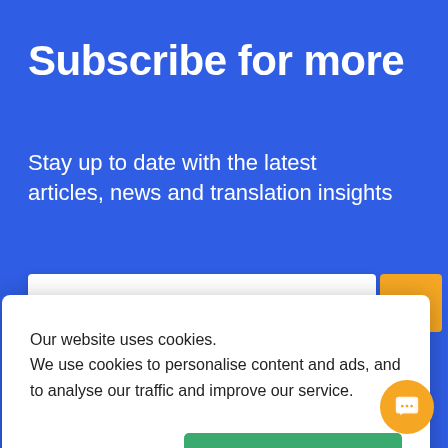Subscribe for more
Stay up to date with the latest articles, news and translation insights
Our website uses cookies.
We use cookies to personalise content and ads, and to analyse our traffic and improve our service.
DETAILS
OK